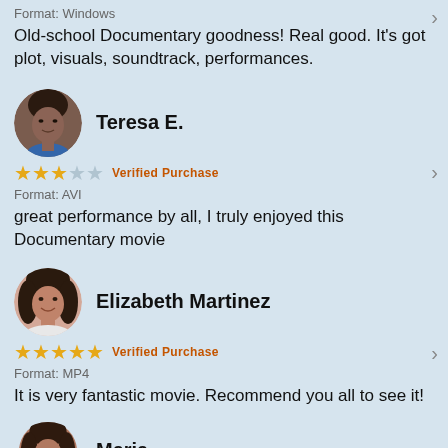Format: Windows
Old-school Documentary goodness! Real good. It's got plot, visuals, soundtrack, performances.
[Figure (photo): Avatar photo of Teresa E., a woman with dark complexion]
Teresa E.
★★★☆☆ Verified Purchase
Format: AVI
great performance by all, I truly enjoyed this Documentary movie
[Figure (photo): Avatar photo of Elizabeth Martinez, a woman with medium complexion and dark hair]
Elizabeth Martinez
★★★★★ Verified Purchase
Format: MP4
It is very fantastic movie. Recommend you all to see it!
[Figure (photo): Avatar photo of Maria, partially visible at bottom]
Maria